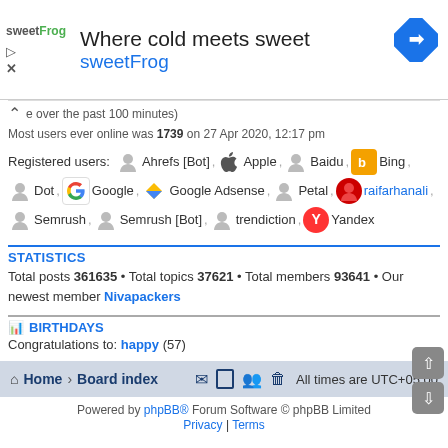[Figure (advertisement): sweetFrog ad banner: 'Where cold meets sweet' with sweetFrog logo and navigation arrow icon]
e over the past 100 minutes)
Most users ever online was 1739 on 27 Apr 2020, 12:17 pm
Registered users: Ahrefs [Bot], Apple, Baidu, Bing, Dot, Google, Google Adsense, Petal, raifarhanali, Semrush, Semrush [Bot], trendiction, Yandex
STATISTICS
Total posts 361635 • Total topics 37621 • Total members 93641 • Our newest member Nivapackers
BIRTHDAYS
Congratulations to: happy (57)
Home · Board index   All times are UTC+05:00
Powered by phpBB® Forum Software © phpBB Limited
Privacy | Terms